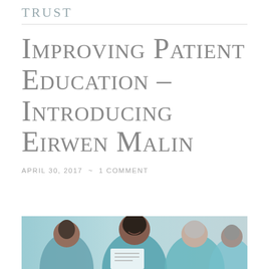TRUST
Improving Patient Education – Introducing Eirwen Malin
APRIL 30, 2017  ~  1 COMMENT
[Figure (photo): Photo of healthcare professionals, including two women in teal/scrubs smiling and looking at documents, with another person visible in the background.]